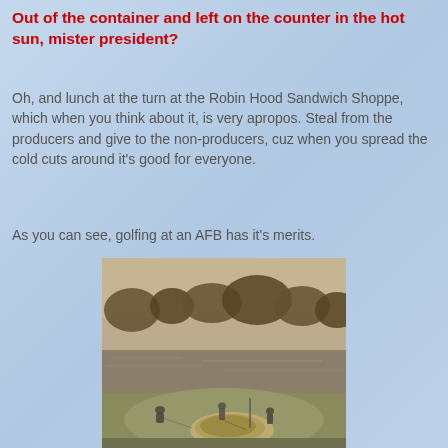Out of the container and left on the counter in the hot sun, mister president?
Oh, and lunch at the turn at the Robin Hood Sandwich Shoppe, which when you think about it, is very apropos. Steal from the producers and give to the non-producers, cuz when you spread the cold cuts around it's good for everyone.
As you can see, golfing at an AFB has it's merits.
[Figure (photo): A sepia-toned photograph of a golf course with a putting green in the foreground featuring a large sand bunker/hole, a pond/water hazard in the middle ground reflecting trees, and golfers on the green. Trees line the background.]